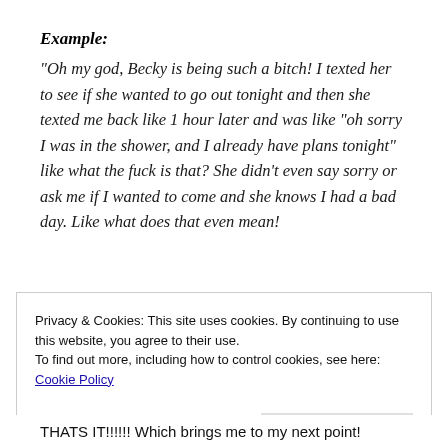Example:
“Oh my god, Becky is being such a bitch! I texted her to see if she wanted to go out tonight and then she texted me back like 1 hour later and was like “oh sorry I was in the shower, and I already have plans tonight” like what the fuck is that? She didn’t even say sorry or ask me if I wanted to come and she knows I had a bad day. Like what does that even mean!
Privacy & Cookies: This site uses cookies. By continuing to use this website, you agree to their use.
To find out more, including how to control cookies, see here: Cookie Policy
THATS IT!!!!!! Which brings me to my next point!